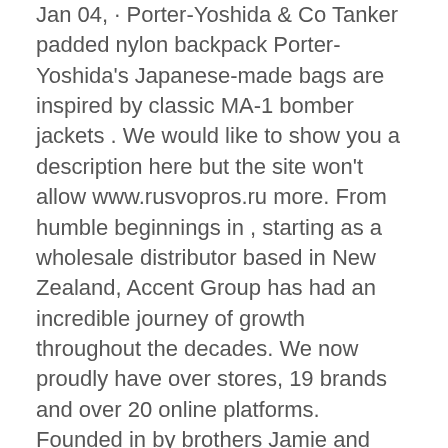Jan 04, · Porter-Yoshida & Co Tanker padded nylon backpack Porter-Yoshida's Japanese-made bags are inspired by classic MA-1 bomber jackets . We would like to show you a description here but the site won't allow www.rusvopros.ru more. From humble beginnings in , starting as a wholesale distributor based in New Zealand, Accent Group has had an incredible journey of growth throughout the decades. We now proudly have over stores, 19 brands and over 20 online platforms. Founded in by brothers Jamie and Lyndon Cormack, Herschel Supply Co. adopted the name of the town where three generations of their family grew up. Add style to your everyday essentials with the Farfetch edit of Herschel Supply Co. for men. Find functional and fashionable backpacks and luggage that have. Find the latest selection of Herschel Supply Co. in-store or online at Nordstrom. Shipping is always free and returns are